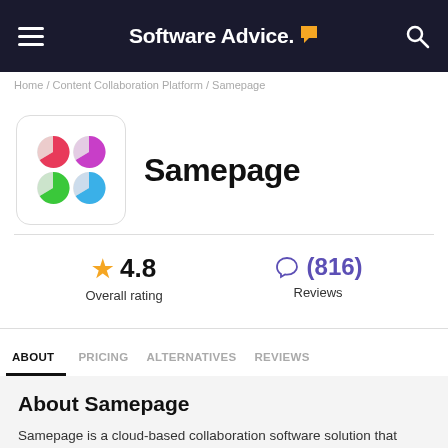Software Advice.
Home / Content Collaboration Platform / Samepage
[Figure (logo): Samepage app logo with four colored circles (pie chart style): red, purple, green, blue]
Samepage
★ 4.8
Overall rating
(816)
Reviews
ABOUT  PRICING  ALTERNATIVES  REVIEWS
About Samepage
Samepage is a cloud-based collaboration software solution that helps teams eliminate project bottlenecks and